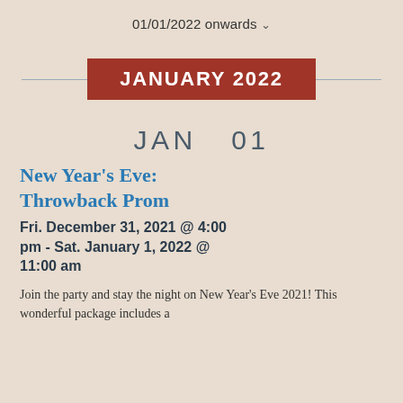01/01/2022 onwards ˅
JANUARY 2022
JAN  01
New Year's Eve: Throwback Prom
Fri. December 31, 2021 @ 4:00 pm - Sat. January 1, 2022 @ 11:00 am
Join the party and stay the night on New Year's Eve 2021! This wonderful package includes a